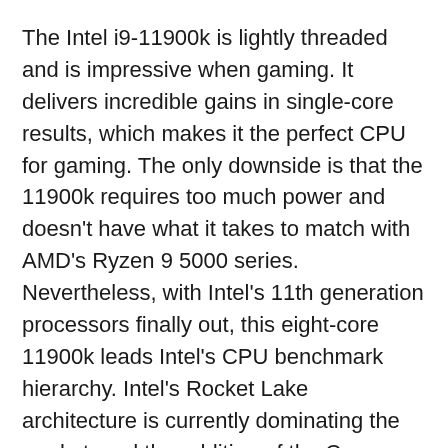The Intel i9-11900k is lightly threaded and is impressive when gaming. It delivers incredible gains in single-core results, which makes it the perfect CPU for gaming. The only downside is that the 11900k requires too much power and doesn't have what it takes to match with AMD's Ryzen 9 5000 series. Nevertheless, with Intel's 11th generation processors finally out, this eight-core 11900k leads Intel's CPU benchmark hierarchy. Intel's Rocket Lake architecture is currently dominating the market, and the addition of the Cypress Cove is Intel's first new PC Desktop architecture in over six years.
The Rocket Lake CPU chipsares spread over a wide range of Intel core processors such as the i5, i7, and i9 processors. The flagship Intel 19-11900k comes with eight cores, sixteen threads and delivers fast clock